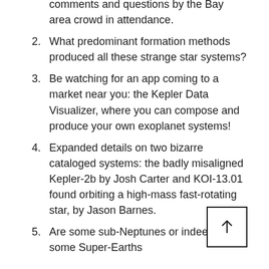comments and questions by the Bay area crowd in attendance.
2. What predominant formation methods produced all these strange star systems?
3. Be watching for an app coming to a market near you: the Kepler Data Visualizer, where you can compose and produce your own exoplanet systems!
4. Expanded details on two bizarre cataloged systems: the badly misaligned Kepler-2b by Josh Carter and KOI-13.01 found orbiting a high-mass fast-rotating star, by Jason Barnes.
5. Are some sub-Neptunes or indeed even some Super-Earths